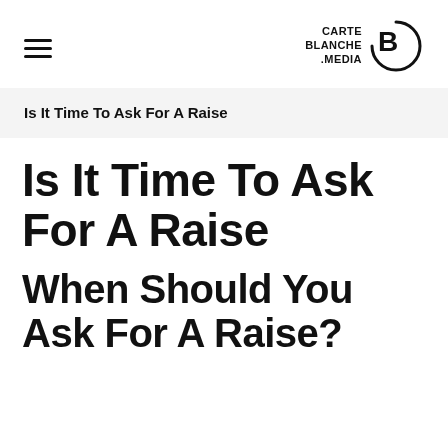≡  CARTE BLANCHE .MEDIA
Is It Time To Ask For A Raise
Is It Time To Ask For A Raise
When Should You Ask For A Raise?